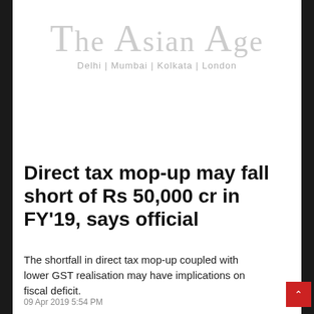[Figure (logo): The Asian Age newspaper logo with subtitle 'Delhi | Mumbai | Kolkata | London']
Direct tax mop-up may fall short of Rs 50,000 cr in FY'19, says official
The shortfall in direct tax mop-up coupled with lower GST realisation may have implications on fiscal deficit.
09 Apr 2019 5:54 PM